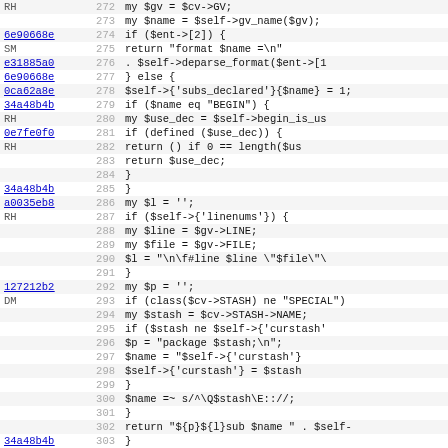[Figure (screenshot): Source code diff viewer showing Perl code lines 272-304 with annotation hashes and line numbers in a monospace font on alternating grey/white rows.]